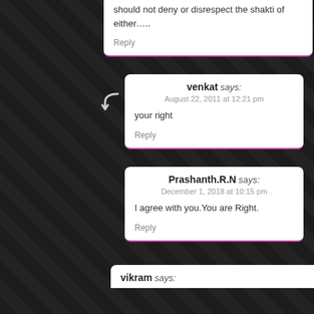should not deny or disrespect the shakti of either…..
Reply
venkat says:
August 22, 2011 at 12:21 pm
your right
Reply
Prashanth.R.N says:
December 1, 2018 at 10:15 pm
I agree with you.You are Right.
Reply
vikram says: